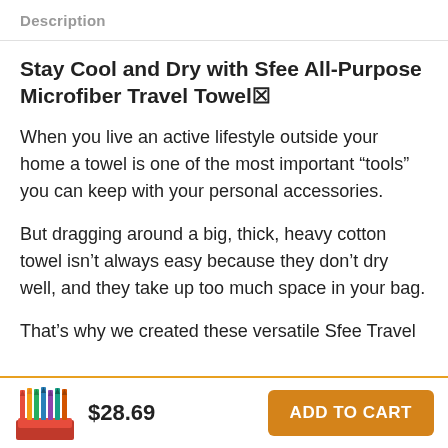Description
Stay Cool and Dry with Sfee All-Purpose Microfiber Travel Towel🔲
When you live an active lifestyle outside your home a towel is one of the most important “tools” you can keep with your personal accessories.
But dragging around a big, thick, heavy cotton towel isn’t always easy because they don’t dry well, and they take up too much space in your bag.
That’s why we created these versatile Sfee Travel
[Figure (other): Product thumbnail showing colorful microfiber towels]
$28.69
ADD TO CART